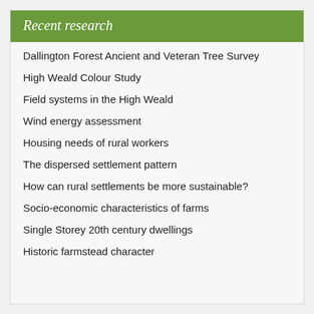Recent research
Dallington Forest Ancient and Veteran Tree Survey
High Weald Colour Study
Field systems in the High Weald
Wind energy assessment
Housing needs of rural workers
The dispersed settlement pattern
How can rural settlements be more sustainable?
Socio-economic characteristics of farms
Single Storey 20th century dwellings
Historic farmstead character